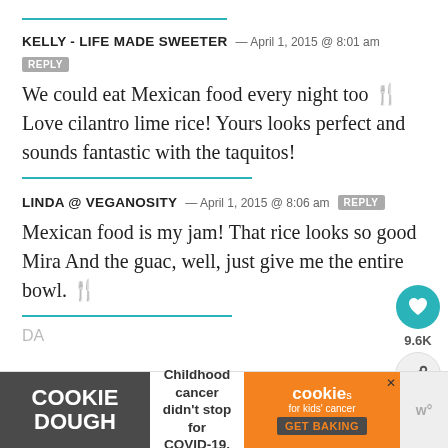KELLY - LIFE MADE SWEETER — April 1, 2015 @ 8:01 am  REPLY
We could eat Mexican food every night too 🍴 Love cilantro lime rice! Yours looks perfect and sounds fantastic with the taquitos!
LINDA @ VEGANOSITY — April 1, 2015 @ 8:06 am  REPLY
Mexican food is my jam! That rice looks so good Mira And the guac, well, just give me the entire bowl. 🍴
[Figure (infographic): Ad banner: Cookie Dough - Childhood cancer didn't stop for COVID-19. cookies for kids' cancer GET BAKING]